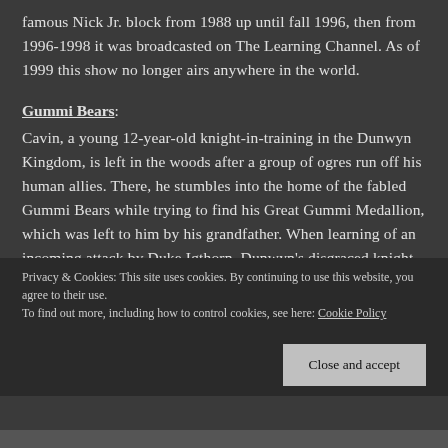famous Nick Jr. block from 1988 up until fall 1996, then from 1996-1998 it was broadcasted on The Learning Channel. As of 1999 this show no longer airs anywhere in the world.
Gummi Bears:
Cavin, a young 12-year-old knight-in-training in the Dunwyn Kingdom, is left in the woods after a group of ogres run off his human allies. There, he stumbles into the home of the fabled Gummi Bears while trying to find his Great Gummi Medallion, which was left to him by his grandfather. When learning of an incoming attack by Duke Igthorn, Dunwyn's disgraced knight
Privacy & Cookies: This site uses cookies. By continuing to use this website, you agree to their use.
To find out more, including how to control cookies, see here: Cookie Policy
Close and accept